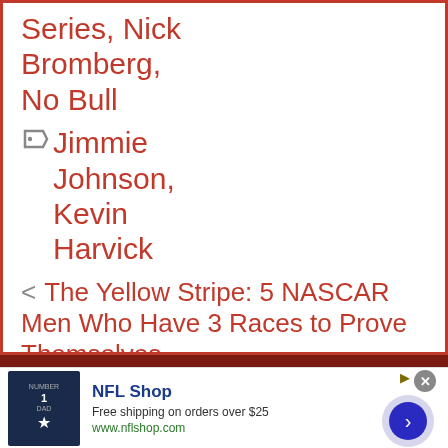Series, Nick Bromberg, No Bull
Jimmie Johnson, Kevin Harvick
< The Yellow Stripe: 5 NASCAR Men Who Have 3 Races to Prove Themselves
> Who's Hot/Who's Not in NASCAR: 2010 Talladega-Texas Edition
NFL Shop
Free shipping on orders over $25
www.nflshop.com